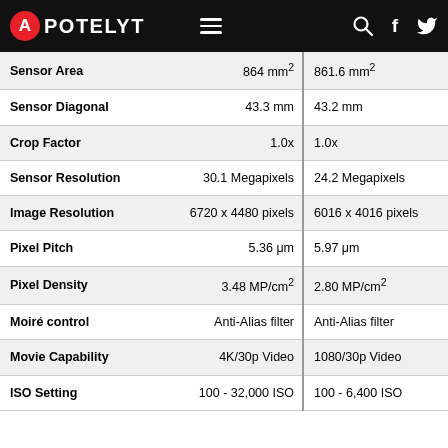APOTELYT
|  | Camera 1 | Camera 2 |
| --- | --- | --- |
| Sensor Area | 864 mm² | 861.6 mm² |
| Sensor Diagonal | 43.3 mm | 43.2 mm |
| Crop Factor | 1.0x | 1.0x |
| Sensor Resolution | 30.1 Megapixels | 24.2 Megapixels |
| Image Resolution | 6720 x 4480 pixels | 6016 x 4016 pixels |
| Pixel Pitch | 5.36 μm | 5.97 μm |
| Pixel Density | 3.48 MP/cm² | 2.80 MP/cm² |
| Moiré control | Anti-Alias filter | Anti-Alias filter |
| Movie Capability | 4K/30p Video | 1080/30p Video |
| ISO Setting | 100 - 32,000 ISO | 100 - 6,400 ISO |